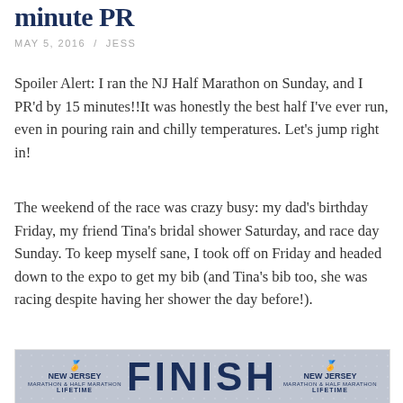minute PR
MAY 5, 2016 / JESS
Spoiler Alert: I ran the NJ Half Marathon on Sunday, and I PR'd by 15 minutes!!It was honestly the best half I've ever run, even in pouring rain and chilly temperatures. Let's jump right in!
The weekend of the race was crazy busy: my dad's birthday Friday, my friend Tina's bridal shower Saturday, and race day Sunday. To keep myself sane, I took off on Friday and headed down to the expo to get my bib (and Tina's bib too, she was racing despite having her shower the day before!).
[Figure (photo): Photo of a race finish line sign reading FINISH with New Jersey Marathon & Half Marathon logos on either side and LIFETIME sponsor text below]